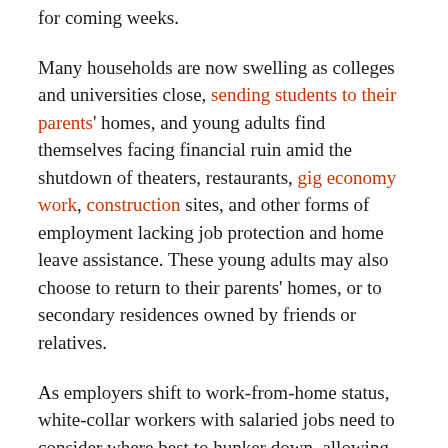for coming weeks.
Many households are now swelling as colleges and universities close, sending students to their parents' homes, and young adults find themselves facing financial ruin amid the shutdown of theaters, restaurants, gig economy work, construction sites, and other forms of employment lacking job protection and home leave assistance. These young adults may also choose to return to their parents' homes, or to secondary residences owned by friends or relatives.
As employers shift to work-from-home status, white-collar workers with salaried jobs need to consider where best to hunker down, allowing them strong Internet access and a home work setting. For workers whose jobs require physical presence at a work site, such as custodians, factory workers, security guards, construction personnel, taxi drivers, and the like, the relocation